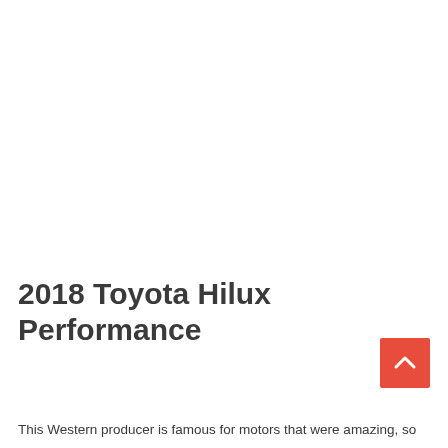2018 Toyota Hilux Performance
This Western producer is famous for motors that were amazing, so